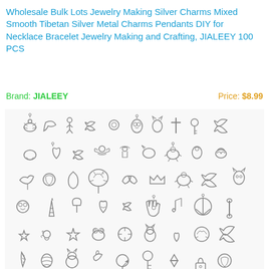Wholesale Bulk Lots Jewelry Making Silver Charms Mixed Smooth Tibetan Silver Metal Charms Pendants DIY for Necklace Bracelet Jewelry Making and Crafting, JIALEEY 100 PCS
Brand: JIALEEY    Price: $8.99
[Figure (photo): A collection of approximately 100 mixed Tibetan silver metal charm pendants in various shapes including butterflies, owls, hearts, trees of life, stars, seahorses, birds, crowns, peace signs, hands, feathers, keys, and many other decorative shapes, displayed on a white background.]